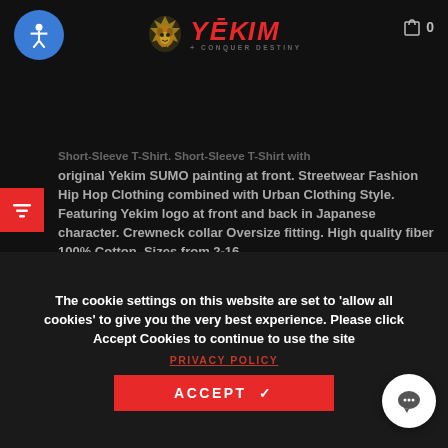YEKIM + CONQUER DESTINY
Short-Sleeve T-Shirt. Short-Sleeve T-Shirt with original Yekim SUMO painting at front. Streetwear Fashion Hip Hop Clothing combined with Urban Clothing Style. Featuring Yekim logo at front and back in Japanese character. Crewneck collar Oversize fitting. High quality fiber 100% Cotton. Sizes from 2-16
| T2000 |  |  | MIDDLE LENGTH (IN) | BOTTOM WIDTH (IN) | SLEEVE (IN) | SLEEVE OPENING (IN) |
| --- | --- | --- | --- | --- | --- | --- |
|  | CHEST (IN) | SHOULDER (IN) | MIDDLE LENGTH (IN) | BOTTOM WIDTH (IN) | SLEEVE (IN) | SLEEVE OPENING (IN) |
The cookie settings on this website are set to 'allow all cookies' to give you the very best experience. Please click Accept Cookies to continue to use the site
PRIVACY POLICY
ACCEPT ✓